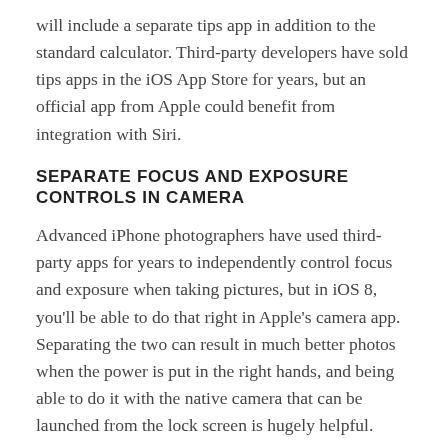will include a separate tips app in addition to the standard calculator. Third-party developers have sold tips apps in the iOS App Store for years, but an official app from Apple could benefit from integration with Siri.
SEPARATE FOCUS AND EXPOSURE CONTROLS IN CAMERA
Advanced iPhone photographers have used third-party apps for years to independently control focus and exposure when taking pictures, but in iOS 8, you'll be able to do that right in Apple's camera app. Separating the two can result in much better photos when the power is put in the right hands, and being able to do it with the native camera that can be launched from the lock screen is hugely helpful.